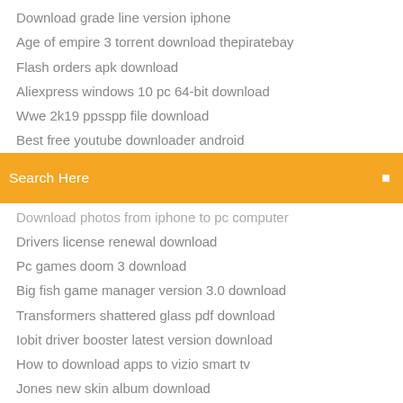Download grade line version iphone
Age of empire 3 torrent download thepiratebay
Flash orders apk download
Aliexpress windows 10 pc 64-bit download
Wwe 2k19 ppsspp file download
Best free youtube downloader android
[Figure (screenshot): Orange search bar with text 'Search Here' and a search icon on the right]
Download photos from iphone to pc computer
Drivers license renewal download
Pc games doom 3 download
Big fish game manager version 3.0 download
Transformers shattered glass pdf download
Iobit driver booster latest version download
How to download apps to vizio smart tv
Jones new skin album download
How to download overwatch pc after buying
Reddit book download pdf